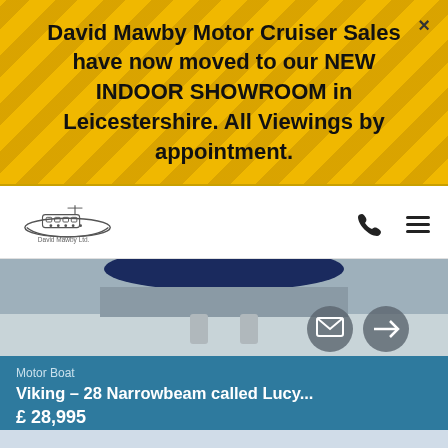David Mawby Motor Cruiser Sales have now moved to our NEW INDOOR SHOWROOM in Leicestershire. All Viewings by appointment.
[Figure (logo): David Mawby Ltd. company logo with boat illustration]
[Figure (photo): Bottom portion of a motor boat image with email and arrow circle buttons]
Motor Boat
Viking – 28 Narrowbeam called Lucy...
£ 28,995
[Figure (photo): Photo of a narrowboat moored at a river with trees and buildings in background]